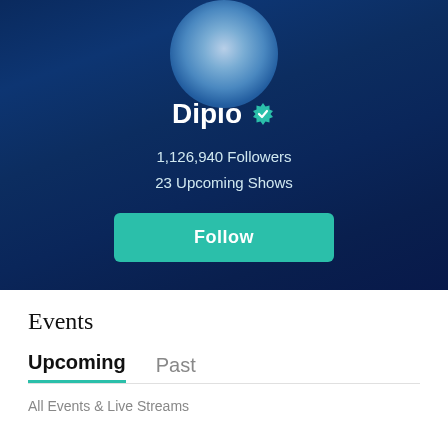[Figure (photo): Artist profile hero section with dark blue blurred background and circular avatar photo of Diplo at top]
Diplo ✓
1,126,940 Followers
23 Upcoming Shows
Follow
Events
Upcoming   Past
All Events & Live Streams